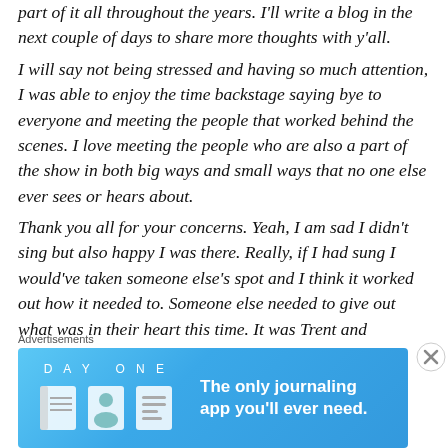part of it all throughout the years. I'll write a blog in the next couple of days to share more thoughts with y'all. I will say not being stressed and having so much attention, I was able to enjoy the time backstage saying bye to everyone and meeting the people that worked behind the scenes. I love meeting the people who are also a part of the show in both big ways and small ways that no one else ever sees or hears about.
Thank you all for your concerns. Yeah, I am sad I didn't sing but also happy I was there. Really, if I had sung I would've taken someone else's spot and I think it worked out how it needed to. Someone else needed to give out what was in their heart this time. It was Trent and b'D...
Advertisements
[Figure (screenshot): Day One journaling app advertisement banner on light blue background with app icons and tagline: 'The only journaling app you'll ever need.']